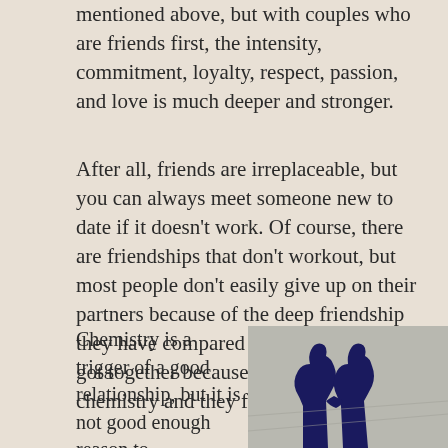mentioned above, but with couples who are friends first, the intensity, commitment, loyalty, respect, passion, and love is much deeper and stronger.
After all, friends are irreplaceable, but you can always meet someone new to date if it doesn't work. Of course, there are friendships that don't workout, but most people don't easily give up on their partners because of the deep friendship they have compared to couples who only got together because they have good chemistry and they fell in love.
Chemistry is a trigger of a good relationship, but it is not good enough reason to
[Figure (photo): Shadow silhouettes of two people holding hands cast on a light gray surface]